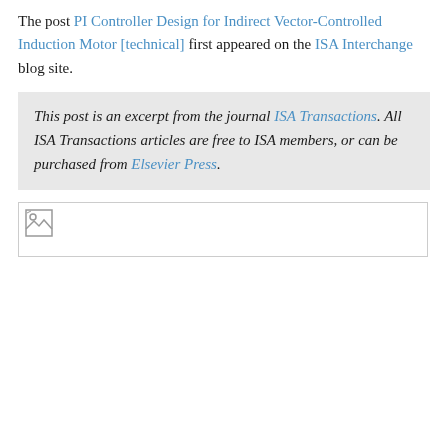The post PI Controller Design for Indirect Vector-Controlled Induction Motor [technical] first appeared on the ISA Interchange blog site.
This post is an excerpt from the journal ISA Transactions. All ISA Transactions articles are free to ISA members, or can be purchased from Elsevier Press.
[Figure (other): Broken image placeholder icon at the top-left of a large white image area]